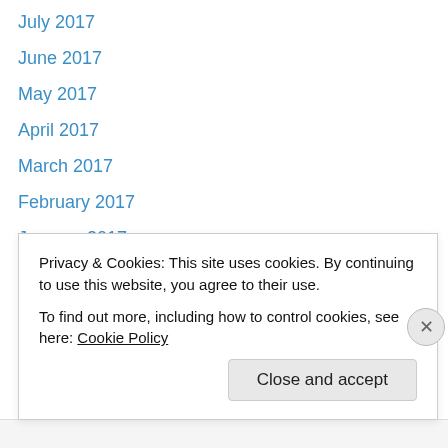July 2017
June 2017
May 2017
April 2017
March 2017
February 2017
January 2017
December 2016
November 2016
October 2016
September 2016
August 2016
July 2016
June 2016
Privacy & Cookies: This site uses cookies. By continuing to use this website, you agree to their use.
To find out more, including how to control cookies, see here: Cookie Policy